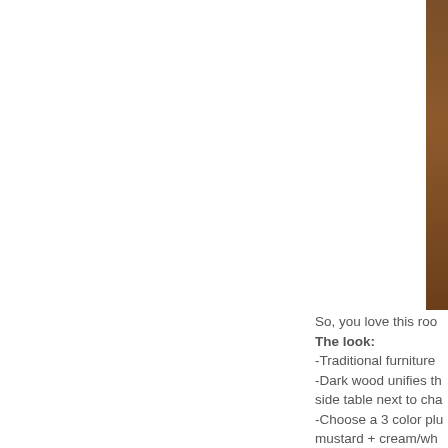[Figure (photo): Partial view of a room with dark wood furniture, visible at top-right edge of the page]
So, you love this roo
The look:
-Traditional furniture
-Dark wood unifies th side table next to cha
-Choose a 3 color plu mustard + cream/wh
-Choose 2 fabric prin though she has bold t on here.
-Add some interestin character to the spac